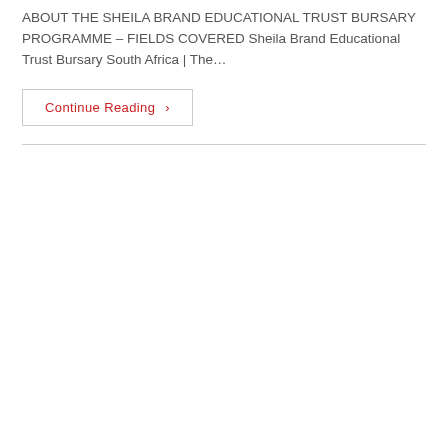ABOUT THE SHEILA BRAND EDUCATIONAL TRUST BURSARY PROGRAMME – FIELDS COVERED Sheila Brand Educational Trust Bursary South Africa | The…
Continue Reading ›